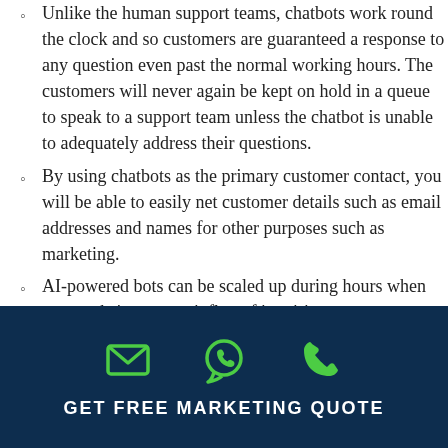Unlike the human support teams, chatbots work round the clock and so customers are guaranteed a response to any question even past the normal working hours. The customers will never again be kept on hold in a queue to speak to a support team unless the chatbot is unable to adequately address their questions.
By using chatbots as the primary customer contact, you will be able to easily net customer details such as email addresses and names for other purposes such as marketing.
AI-powered bots can be scaled up during hours when your website gets an influx of inquiries.
Despite the main benefits of using AI
[Figure (infographic): Dark navy footer bar with three green icons: an envelope (email), a WhatsApp speech bubble, and a phone handset, above the text GET FREE MARKETING QUOTE in white bold capitals.]